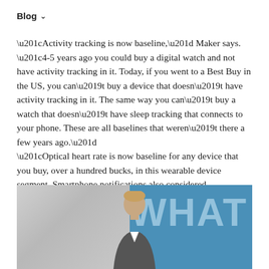Blog ∨
“Activity tracking is now baseline,” Maker says. “4-5 years ago you could buy a digital watch and not have activity tracking in it. Today, if you went to a Best Buy in the US, you can’t buy a device that doesn’t have activity tracking in it. The same way you can’t buy a watch that doesn’t have sleep tracking that connects to your phone. These are all baselines that weren’t there a few years ago.”
“Optical heart rate is now baseline for any device that you buy, over a hundred bucks, in this wearable device segment. Smartphone notifications also considered baseline.”
[Figure (photo): Partial photo of a person (man with light hair) in front of a blue background with the text WHAT visible in large letters]